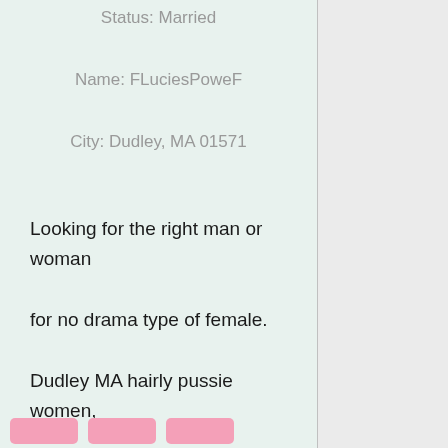Status: Married
Name: FLuciesPoweF
City: Dudley, MA 01571
Looking for the right man or woman for no drama type of female. Dudley MA hairly pussie women, fetish clubs in Dudley MA to go meet women to fuck at malls.